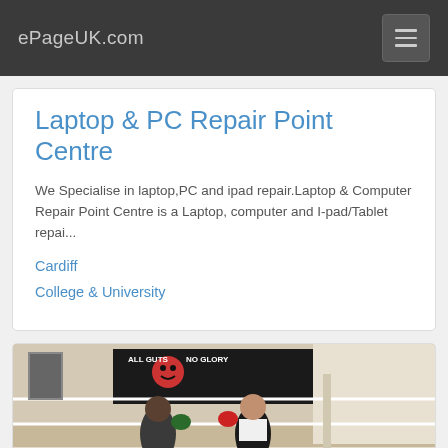ePageUK.com
Laptop & PC Repair Point Centre
We Specialise in laptop,PC and ipad repair.Laptop & Computer Repair Point Centre is a Laptop, computer and I-pad/Tablet repai...
Cardiff
College & University
[Figure (photo): Two boxers sparring in a boxing ring with a banner reading 'ALL GUTS NO GLORY' in the background]